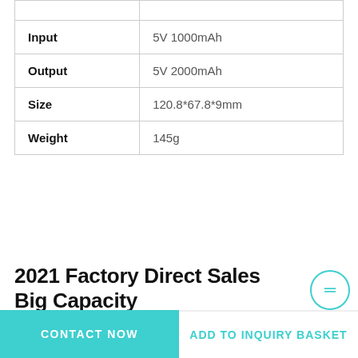|  |  |
| --- | --- |
| Input | 5V 1000mAh |
| Output | 5V 2000mAh |
| Size | 120.8*67.8*9mm |
| Weight | 145g |
2021 Factory Direct Sales Big Capacity Power Bank S-35
CONTACT NOW | ADD TO INQUIRY BASKET